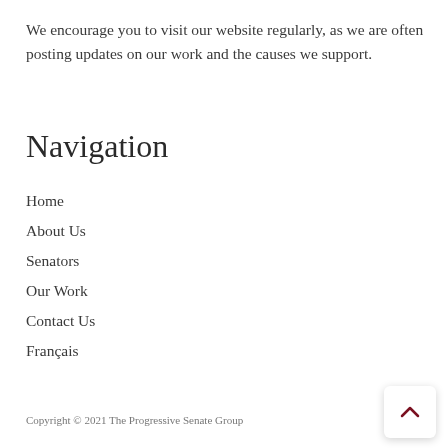We encourage you to visit our website regularly, as we are often posting updates on our work and the causes we support.
Navigation
Home
About Us
Senators
Our Work
Contact Us
Français
Copyright © 2021 The Progressive Senate Group